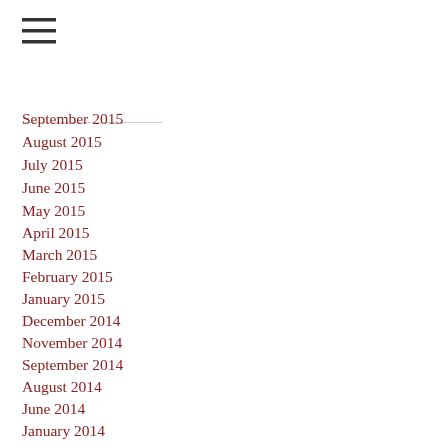[Figure (other): Hamburger menu icon with three horizontal lines]
September 2015
August 2015
July 2015
June 2015
May 2015
April 2015
March 2015
February 2015
January 2015
December 2014
November 2014
September 2014
August 2014
June 2014
January 2014
December 2013
November 2013
October 2013